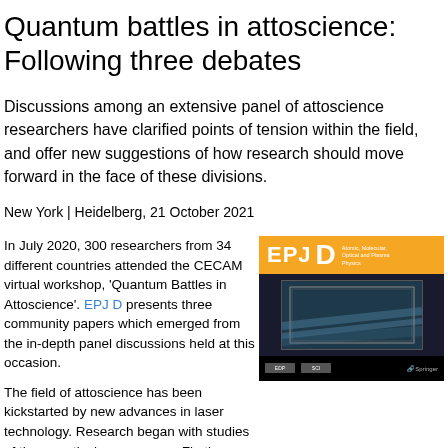Quantum battles in attoscience: Following three debates
Discussions among an extensive panel of attoscience researchers have clarified points of tension within the field, and offer new suggestions of how research should move forward in the face of these divisions.
New York | Heidelberg, 21 October 2021
In July 2020, 300 researchers from 34 different countries attended the CECAM virtual workshop, 'Quantum Battles in Attoscience'. EPJ D presents three community papers which emerged from the in-depth panel discussions held at this occasion.
[Figure (photo): Cover of EPJ D journal — orange header with 'EPJ D' title, subtitle 'Atomic, Molecular, Optical and Plasma Physics', dark image area with a framed photograph, and black footer with publisher logos including Springer.]
The field of attoscience has been kickstarted by new advances in laser technology. Research began with studies of three particular processes. Firstly, 'above-threshold ionization'